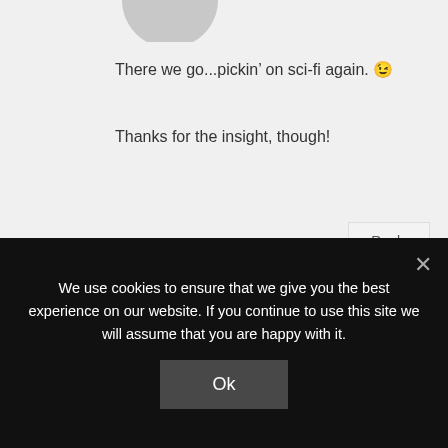[Figure (photo): Partial avatar image at top, gray silhouette cut off at top of page]
There we go...pickin’ on sci-fi again. 😉
Thanks for the insight, though!
Reply
[Figure (photo): Circular profile photo of Wendy Lawton, a woman with short blonde hair and glasses, smiling, with bookshelves in background]
Wendy Lawton
July 16, 2013 at 1:18 pm
We use cookies to ensure that we give you the best experience on our website. If you continue to use this site we will assume that you are happy with it.
Ok